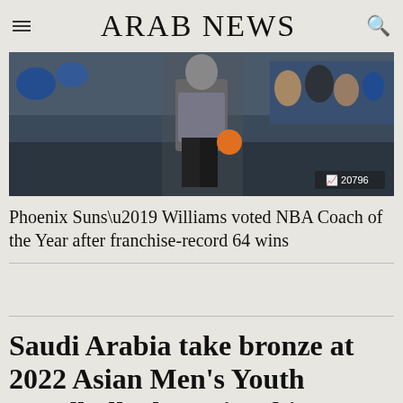ARAB NEWS
[Figure (photo): Sports photo showing a basketball coach/player on court, crowd in background, with trending badge showing 20796]
Phoenix Suns’ Williams voted NBA Coach of the Year after franchise-record 64 wins
Saudi Arabia take bronze at 2022 Asian Men’s Youth Handball Championship
[Figure (photo): Partial sports photo at bottom of page, cut off]